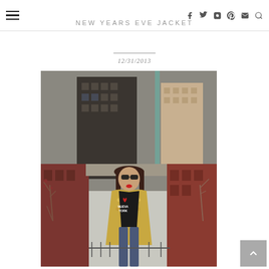NEW YEARS EVE JACKET
12/31/2013
[Figure (photo): Woman wearing a gold/white patterned jacket over a black 'Nueva York' t-shirt with a red heart graphic, sunglasses, photographed on a rooftop with New York City buildings in the background]